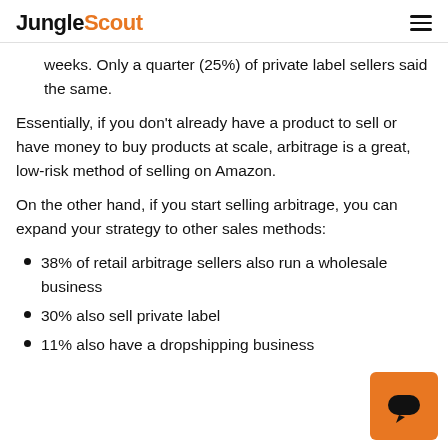JungleScout
weeks. Only a quarter (25%) of private label sellers said the same.
Essentially, if you don't already have a product to sell or have money to buy products at scale, arbitrage is a great, low-risk method of selling on Amazon.
On the other hand, if you start selling arbitrage, you can expand your strategy to other sales methods:
38% of retail arbitrage sellers also run a wholesale business
30% also sell private label
11% also have a dropshipping business